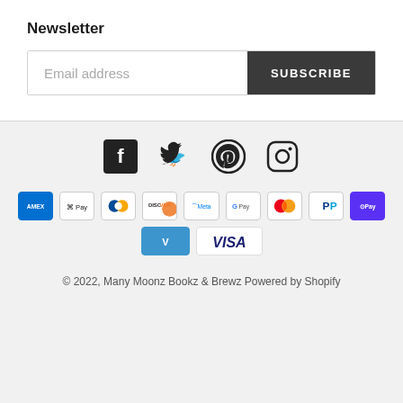Newsletter
[Figure (screenshot): Email address input field with Subscribe button]
[Figure (infographic): Social media icons: Facebook, Twitter, Pinterest, Instagram]
[Figure (infographic): Payment method icons: Amex, Apple Pay, Diners Club, Discover, Meta Pay, Google Pay, Mastercard, PayPal, ShopPay, Venmo, Visa]
© 2022, Many Moonz Bookz & Brewz Powered by Shopify